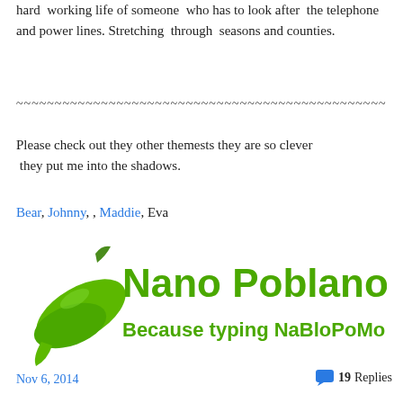hard working life of someone who has to look after the telephone and power lines. Stretching through seasons and counties.
~~~~~~~~~~~~~~~~~~~~~~~~~~~~~~~~~~~~~~~~~~~~~~~~
Please check out they other themests they are so clever they put me into the shadows.
Bear, Johnny, , Maddie, Eva
[Figure (logo): Nano Poblano 2014 logo with green chili pepper graphic. Text reads: Nano Poblano 2014 Because typing NaBloPoMo is hard.]
Nov 6, 2014    19 Replies